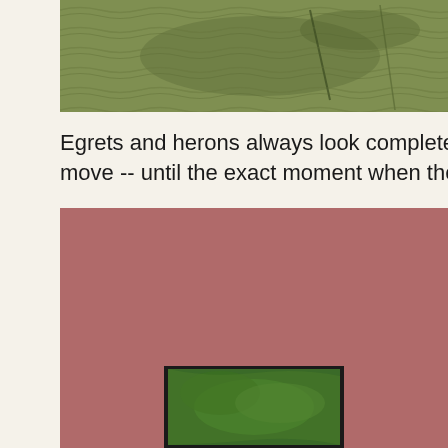[Figure (photo): Top portion of a photo showing water surface with green algae or aquatic vegetation and ripples, partially cropped at the top of the page.]
Egrets and herons always look completely calm and never move -- until the exact moment when they catch th
[Figure (photo): Large photo with a dusty rose/mauve background, containing a smaller inset photo at the bottom center showing green algae or aquatic vegetation against a dark/black background.]